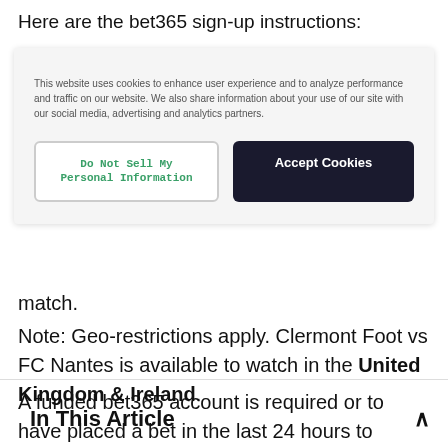Here are the bet365 sign-up instructions:
[Figure (screenshot): Cookie consent popup with two buttons: 'Do Not Sell My Personal Information' (outlined, green text) and 'Accept Cookies' (dark background, white text). Cookie notice text reads: 'This website uses cookies to enhance user experience and to analyze performance and traffic on our website. We also share information about your use of our site with our social media, advertising and analytics partners.']
match.
Note: Geo-restrictions apply. Clermont Foot vs FC Nantes is available to watch in the United Kingdom & Ireland.
A funded bet365 account is required or to have placed a bet in the last 24 hours to qualify.
In This Article